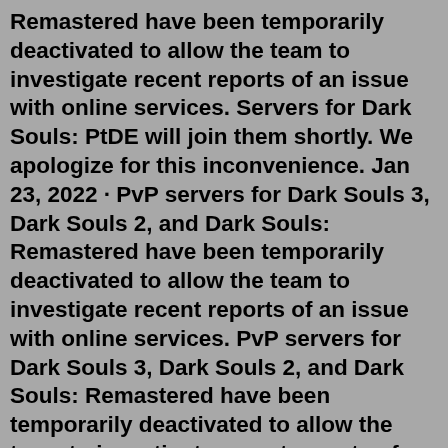Remastered have been temporarily deactivated to allow the team to investigate recent reports of an issue with online services. Servers for Dark Souls: PtDE will join them shortly. We apologize for this inconvenience. Jan 23, 2022 · PvP servers for Dark Souls 3, Dark Souls 2, and Dark Souls: Remastered have been temporarily deactivated to allow the team to investigate recent reports of an issue with online services. PvP servers for Dark Souls 3, Dark Souls 2, and Dark Souls: Remastered have been temporarily deactivated to allow the team to investigate recent reports of an issue with online services. Servers for Dark Souls: PtDE will join them shortly. We apologize for this inconvenience.Jan 24, 2022 · Bearer of the Curse, PVP servers for all the Dark Souls games have been temporarily shut down due to a serious security risk. Bandai Namco identified the problem and quickly took action to protect the fan favourite game. The vulnerability in Dark Souls 3, as explained by a well-known and knowledgeable